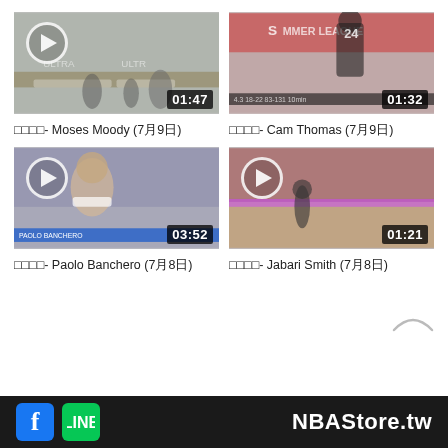[Figure (screenshot): Video thumbnail for Moses Moody basketball highlight, duration 01:47]
□□□□- Moses Moody (7月9日)
[Figure (screenshot): Video thumbnail for Cam Thomas basketball highlight, duration 01:32, shows player #24]
□□□□- Cam Thomas (7月9日)
[Figure (screenshot): Video thumbnail for Paolo Banchero basketball interview/highlight, duration 03:52]
□□□□- Paolo Banchero (7月8日)
[Figure (screenshot): Video thumbnail for Jabari Smith basketball highlight, duration 01:21]
□□□□- Jabari Smith (7月8日)
NBAStore.tw